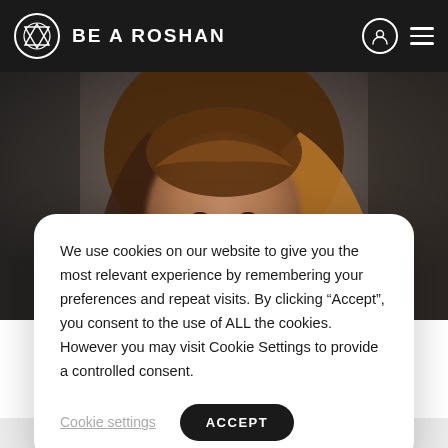BE A ROSHAN
[Figure (photo): Portrait photo of a smiling woman with brown hair, blurred background, dark tones]
We use cookies on our website to give you the most relevant experience by remembering your preferences and repeat visits. By clicking “Accept”, you consent to the use of ALL the cookies. However you may visit Cookie Settings to provide a controlled consent.
Cookie settings
ACCEPT